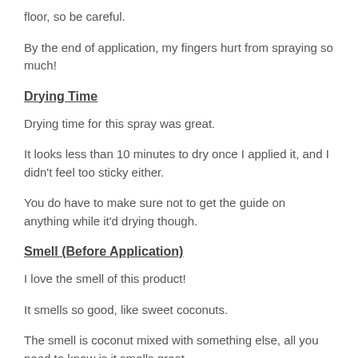floor, so be careful.
By the end of application, my fingers hurt from spraying so much!
Drying Time
Drying time for this spray was great.
It looks less than 10 minutes to dry once I applied it, and I didn't feel too sticky either.
You do have to make sure not to get the guide on anything while it'd drying though.
Smell (Before Application)
I love the smell of this product!
It smells so good, like sweet coconuts.
The smell is coconut mixed with something else, all you need to know is it smells great.
Smell (After Several Hours And The Next Day)